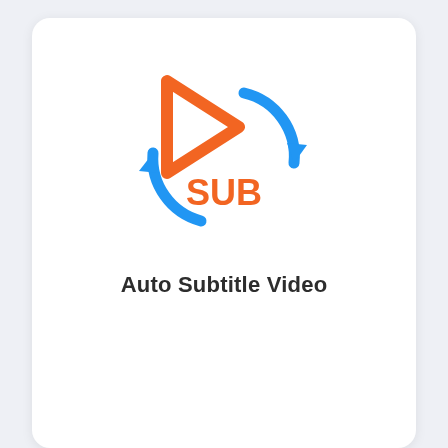[Figure (logo): App icon showing an orange play button triangle with blue circular refresh arrows and the text 'SUB' in orange inside the circle]
Auto Subtitle Video